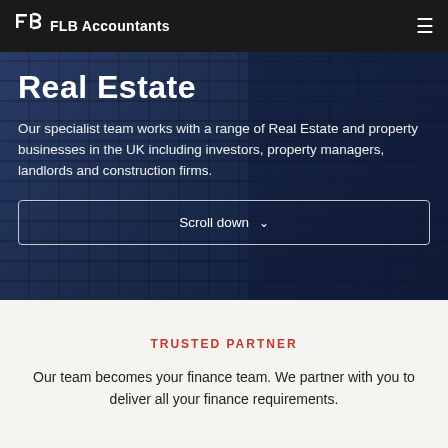FLB Accountants
Real Estate
Our specialist team works with a range of Real Estate and property businesses in the UK including investors, property managers, landlords and construction firms.
Scroll down
TRUSTED PARTNER
Our team becomes your finance team. We partner with you to deliver all your finance requirements.